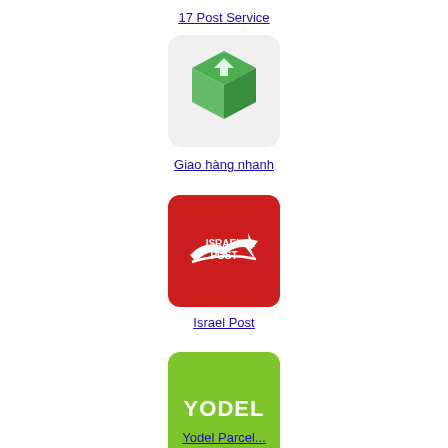[Figure (logo): 17 Post Service logo on dark blue background]
17 Post Service
[Figure (logo): Giao hàng nhanh logo - green 3D box icon on light gray background]
Giao hàng nhanh
[Figure (logo): Israel Post logo - white text and bird graphic on red background]
Israel Post
[Figure (logo): Yodel logo - white bold text YODEL on green background]
Yodel Parcel...